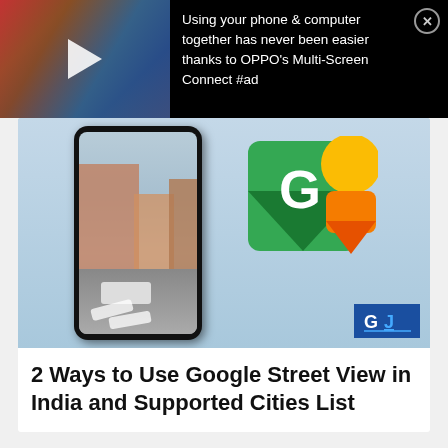[Figure (screenshot): Ad banner: dark background with video thumbnail on left (play button) and OPPO Multi-Screen Connect ad text on right with close button]
Using your phone & computer together has never been easier thanks to OPPO's Multi-Screen Connect #ad
[Figure (screenshot): Article card thumbnail showing Google Street View in India: phone mockup with street view scene on left, Google Maps Street View icon (G logo with pegman) on right on light blue background, GJ logo in bottom right]
2 Ways to Use Google Street View in India and Supported Cities List